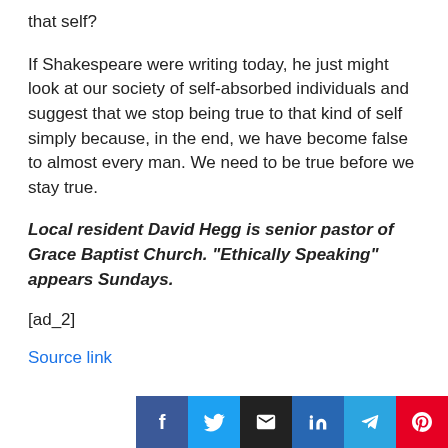that self?
If Shakespeare were writing today, he just might look at our society of self-absorbed individuals and suggest that we stop being true to that kind of self simply because, in the end, we have become false to almost every man. We need to be true before we stay true.
Local resident David Hegg is senior pastor of Grace Baptist Church. “Ethically Speaking” appears Sundays.
[ad_2]
Source link
[Figure (other): Social sharing buttons: Facebook (blue), Twitter (light blue), Email (black), LinkedIn (dark blue), Telegram (blue), Pinterest (red)]